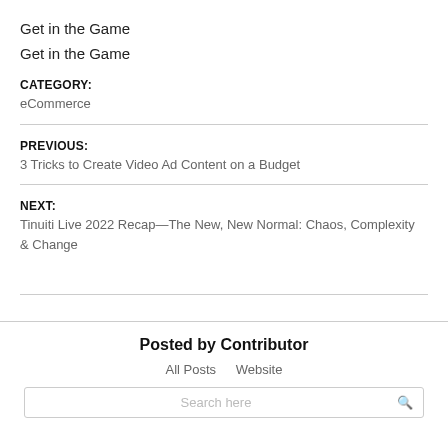Get in the Game
Get in the Game
CATEGORY:
eCommerce
PREVIOUS:
3 Tricks to Create Video Ad Content on a Budget
NEXT:
Tinuiti Live 2022 Recap—The New, New Normal: Chaos, Complexity & Change
Posted by Contributor
All Posts   Website
Search here